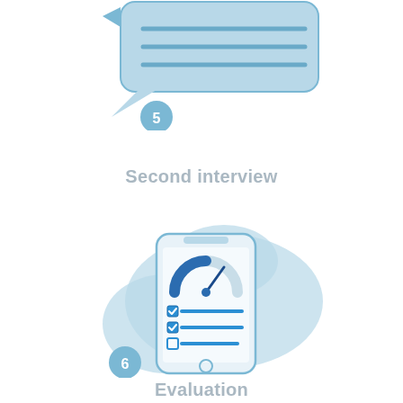[Figure (illustration): Step 5 icon: speech bubble with horizontal lines and a blue circle labeled 5]
Second interview
[Figure (illustration): Step 6 icon: smartphone displaying a speedometer/gauge and checklist, on a light blue cloud background, with a blue circle labeled 6]
Evaluation